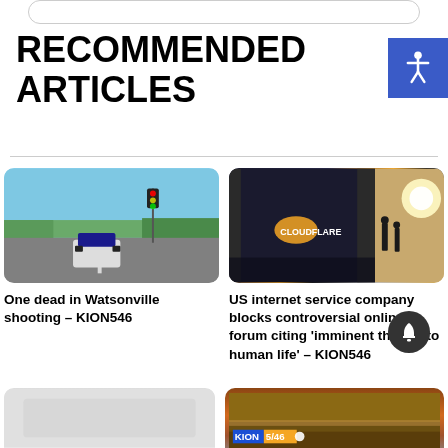RECOMMENDED ARTICLES
[Figure (photo): Street scene with police car at intersection, blue sky, power lines]
[Figure (photo): Cloudflare logo reflected on dark glass surface with people walking on street in background at sunset]
One dead in Watsonville shooting – KION546
US internet service company blocks controversial online forum citing 'imminent threats to human life' – KION546
[Figure (photo): Partial bottom card - light gray]
[Figure (photo): KION 5/46 news logo banner over desert/landscape background]